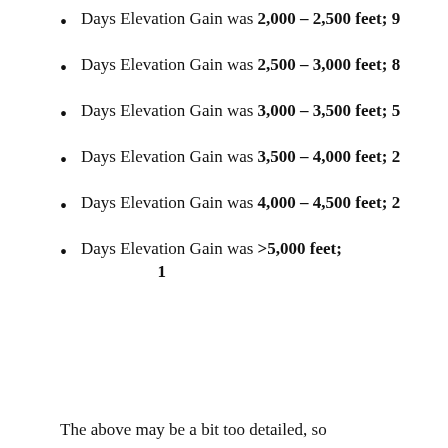Days Elevation Gain was 2,000 - 2,500 feet; 9
Days Elevation Gain was 2,500 - 3,000 feet; 8
Days Elevation Gain was 3,000 - 3,500 feet; 5
Days Elevation Gain was 3,500 - 4,000 feet; 2
Days Elevation Gain was 4,000 - 4,500 feet; 2
Days Elevation Gain was >5,000 feet; 1
The above may be a bit too detailed, so